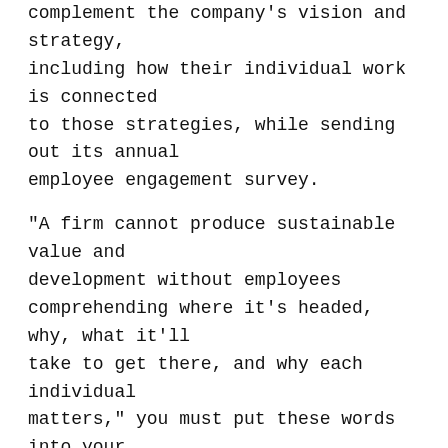complement the company's vision and strategy, including how their individual work is connected to those strategies, while sending out its annual employee engagement survey.
"A firm cannot produce sustainable value and development without employees comprehending where it's headed, why, what it'll take to get there, and why each individual matters," you must put these words into your stubborn head.
Avoid Playing the Part of A 'Corporate Publicist.'
If I am trying to tackle a problem in my business, I will make sure I am doing something about it first. Perhaps you're familiar with the following scenario: According to the results of an internal poll, a lot of employees would be more